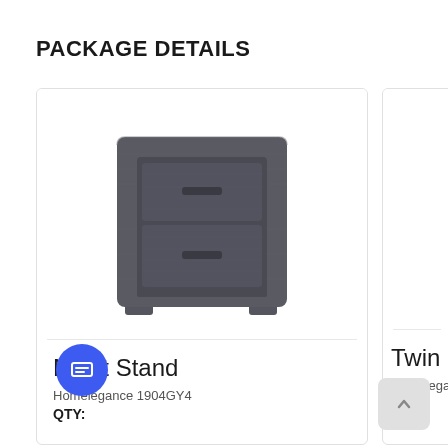PACKAGE DETAILS
[Figure (photo): Gray wood-textured night stand with two drawers and silver bar handles, on a white background.]
Night Stand
Homelegance 1904GY4
QTY:
[Figure (photo): Partial view of a second card showing 'Twin B' title and 'Homelega' subtitle (cut off at right edge of page).]
Twin B
Homelega
QTY: